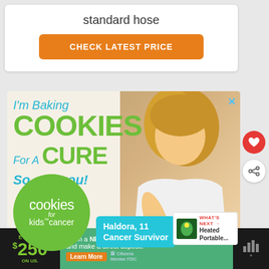standard hose
CHECK LATEST PRICE
[Figure (infographic): Advertisement: Cookies for Kids Cancer campaign. Text reads: I'm Baking COOKIES For A CURE So can you! with a girl holding cookies. Green circle logo with 'cookies for kids' cancer'. Teal box: Haldora, 11 Cancer Survivor.]
[Figure (infographic): Bottom ad bar: Enjoy $250 on us. Open a NEW checking account and make a direct deposit. Learn More button. Citizens Bank logo. Weather widget showing bars.]